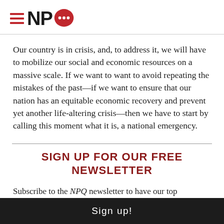NPQ
Our country is in crisis, and, to address it, we will have to mobilize our social and economic resources on a massive scale. If we want to want to avoid repeating the mistakes of the past—if we want to ensure that our nation has an equitable economic recovery and prevent yet another life-altering crisis—then we have to start by calling this moment what it is, a national emergency.
SIGN UP FOR OUR FREE NEWSLETTER
Subscribe to the NPQ newsletter to have our top
Sign up!